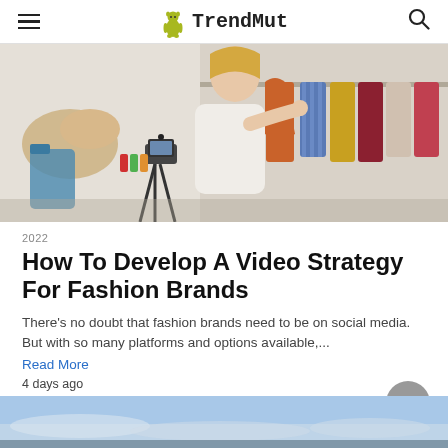TrendMut
[Figure (photo): Woman in white top selecting orange garment from clothing rack with phone on tripod stand recording in foreground; colorful clothes visible on rack]
2022
How To Develop A Video Strategy For Fashion Brands
There's no doubt that fashion brands need to be on social media. But with so many platforms and options available,...
Read More
4 days ago
[Figure (photo): Partial view of sky with clouds, bottom strip of next article image]